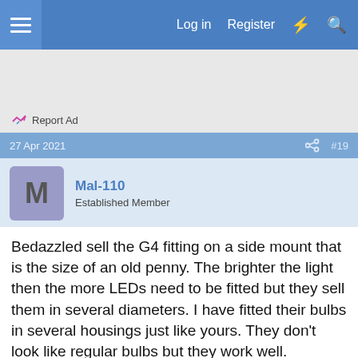Log in  Register
[Figure (screenshot): Ad placeholder area with Report Ad link]
27 Apr 2021  #19
Mal-110
Established Member
Bedazzled sell the G4 fitting on a side mount that is the size of an old penny. The brighter the light then the more LEDs need to be fitted but they sell them in several diameters. I have fitted their bulbs in several housings just like yours. They don't look like regular bulbs but they work well.
Report Ad
[Figure (screenshot): BitLife advertisement banner - FAIL START A NEW LIFE]